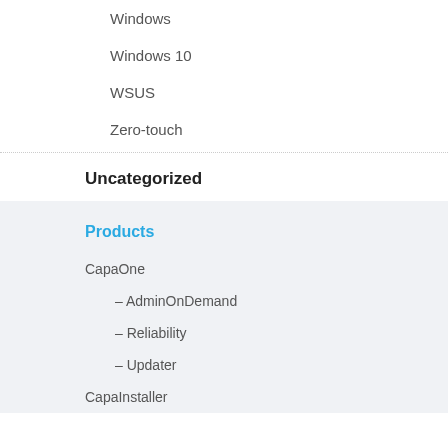Windows
Windows 10
WSUS
Zero-touch
Uncategorized
Products
CapaOne
– AdminOnDemand
– Reliability
– Updater
CapaInstaller